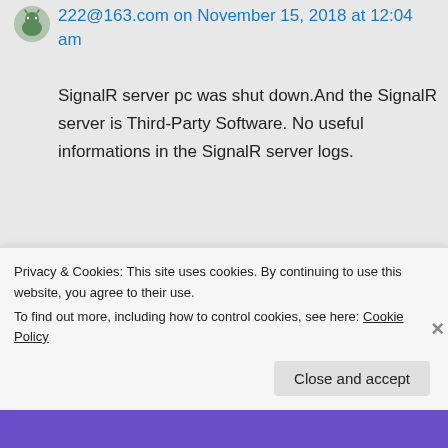222@163.com on November 15, 2018 at 12:04 am
SignalR server pc was shut down.And the SignalR server is Third-Party Software. No useful informations in the SignalR server logs.
Like
Reply
Privacy & Cookies: This site uses cookies. By continuing to use this website, you agree to their use.
To find out more, including how to control cookies, see here: Cookie Policy
Close and accept